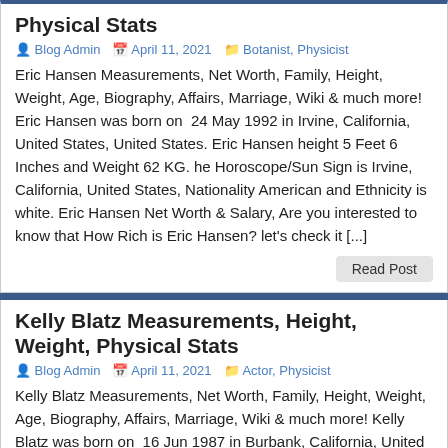Physical Stats
Blog Admin   April 11, 2021   Botanist, Physicist
Eric Hansen Measurements, Net Worth, Family, Height, Weight, Age, Biography, Affairs, Marriage, Wiki & much more! Eric Hansen was born on  24 May 1992 in Irvine, California, United States, United States. Eric Hansen height 5 Feet 6 Inches and Weight 62 KG. he Horoscope/Sun Sign is Irvine, California, United States, Nationality American and Ethnicity is white. Eric Hansen Net Worth & Salary, Are you interested to know that How Rich is Eric Hansen? let's check it [...]
Read Post
Kelly Blatz Measurements, Height, Weight, Physical Stats
Blog Admin   April 11, 2021   Actor, Physicist
Kelly Blatz Measurements, Net Worth, Family, Height, Weight, Age, Biography, Affairs, Marriage, Wiki & much more! Kelly Blatz was born on  16 Jun 1987 in Burbank, California, United States. Kelly Blatz height 1.81 m and Weight 75